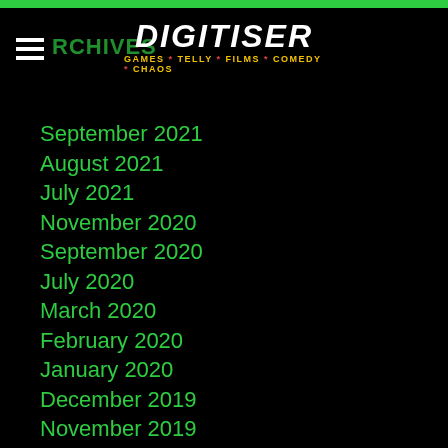ARCHIVES — Digitiser: GAMES * TELLY * FILMS * COMEDY * CHAOS
September 2021
August 2021
July 2021
November 2020
September 2020
July 2020
March 2020
February 2020
January 2020
December 2019
November 2019
October 2019
September 2019
August 2019
July 2019